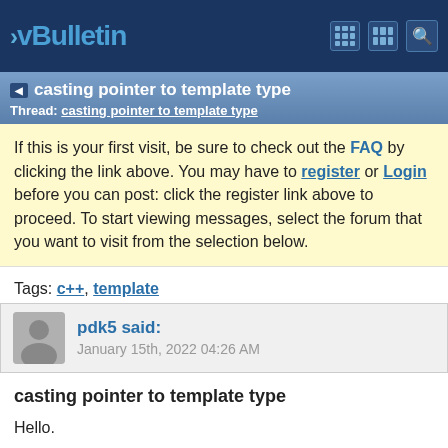vBulletin
casting pointer to template type
Thread: casting pointer to template type
If this is your first visit, be sure to check out the FAQ by clicking the link above. You may have to register or Login before you can post: click the register link above to proceed. To start viewing messages, select the forum that you want to visit from the selection below.
Tags: c++, template
pdk5 said:
January 15th, 2022 04:26 AM
casting pointer to template type
Hello.

I have another circular dependency issue, so was trying to handle by changing the variable access to pointer type...